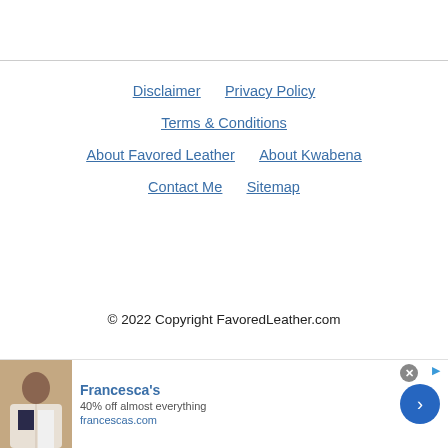Disclaimer
Privacy Policy
Terms & Conditions
About Favored Leather
About Kwabena
Contact Me
Sitemap
© 2022 Copyright FavoredLeather.com
[Figure (infographic): Advertisement banner for Francesca's: '40% off almost everything' with francescas.com URL, a blue arrow button, and a close (x) button]